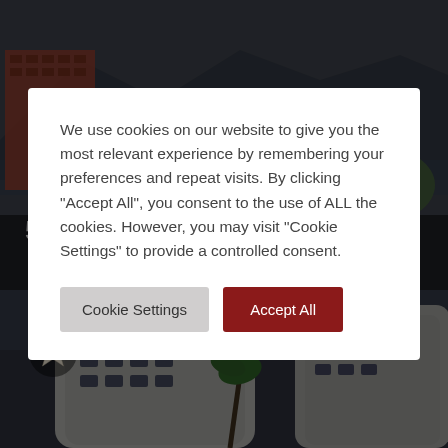[Figure (photo): Top: hotel exterior with palm trees and mountains in background, dimly lit. Bottom: white curved multi-story hotel building with palm trees, star bookmark icon overlay.]
5* ParkRoyal Penang-
We use cookies on our website to give you the most relevant experience by remembering your preferences and repeat visits. By clicking “Accept All”, you consent to the use of ALL the cookies. However, you may visit “Cookie Settings” to provide a controlled consent.